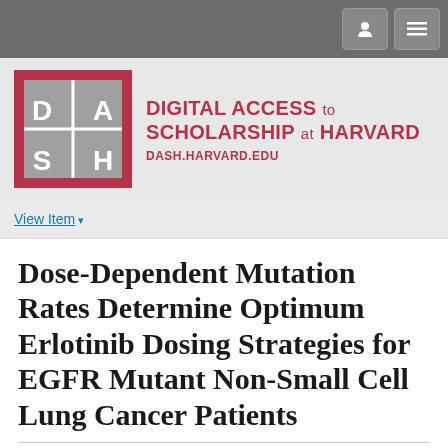Navigation bar with user and menu buttons
[Figure (logo): DASH logo — a red-bordered square with grey inner square containing letters D, A, S, H in a 2x2 grid]
DIGITAL ACCESS to SCHOLARSHIP at HARVARD
DASH.HARVARD.EDU
View Item
Dose-Dependent Mutation Rates Determine Optimum Erlotinib Dosing Strategies for EGFR Mutant Non-Small Cell Lung Cancer Patients